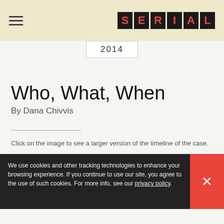SERIAL
2014
Who, What, When
By Dana Chivvis
Click on the image to see a larger version of the timeline of the case.
We've just added this simple timeline of the case to our Maps, Photos, Etc. page. It covers the major events... in ... line of Jan. 13, 1999 coming later this week.
We use cookies and other tracking technologies to enhance your browsing experience. If you continue to use our site, you agree to the use of such cookies. For more info, see our privacy policy.